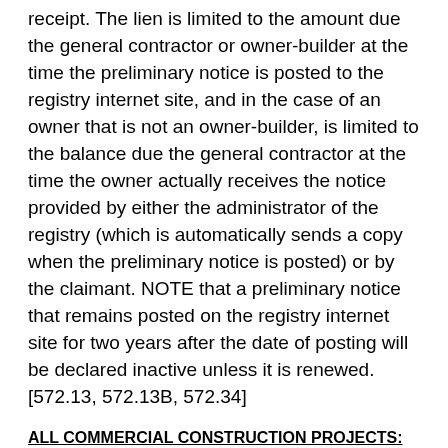receipt. The lien is limited to the amount due the general contractor or owner-builder at the time the preliminary notice is posted to the registry internet site, and in the case of an owner that is not an owner-builder, is limited to the balance due the general contractor at the time the owner actually receives the notice provided by either the administrator of the registry (which is automatically sends a copy when the preliminary notice is posted) or by the claimant. NOTE that a preliminary notice that remains posted on the registry internet site for two years after the date of posting will be declared inactive unless it is renewed. [572.13, 572.13B, 572.34]
ALL COMMERCIAL CONSTRUCTION PROJECTS:
Notice must be received within 30 days of first furnishing the labor or materials. NOTE that a preliminary notice that remains posted on the registry internet site for two years after the date of posting will be declared inactive unless it is